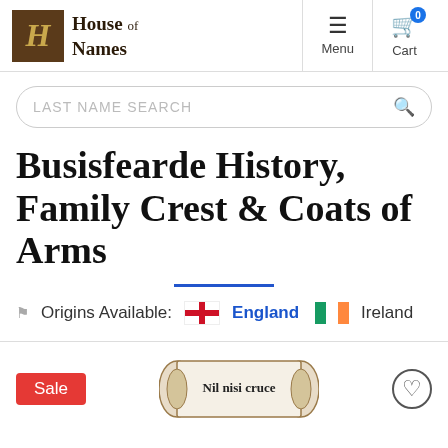House of Names — Menu — Cart 0
LAST NAME SEARCH
Busisfearde History, Family Crest & Coats of Arms
Origins Available: England  Ireland
[Figure (other): Product scroll image with text 'Nil nisi cruce']
Sale